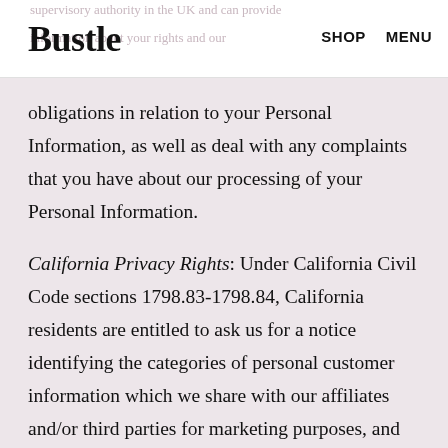Bustle | SHOP | MENU
obligations in relation to your Personal Information, as well as deal with any complaints that you have about our processing of your Personal Information.
California Privacy Rights: Under California Civil Code sections 1798.83-1798.84, California residents are entitled to ask us for a notice identifying the categories of personal customer information which we share with our affiliates and/or third parties for marketing purposes, and providing contact information for such affiliates and/or third parties. If you are a California resident and would like a copy